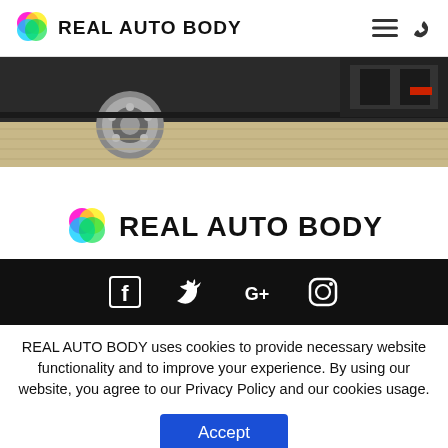REAL AUTO BODY
[Figure (photo): Close-up photo of the underside/wheel well area of a vehicle, showing a chrome wheel and vehicle body detail.]
[Figure (logo): Real Auto Body logo with colorful circle icon (magenta, yellow, cyan, green) and bold text 'REAL AUTO BODY']
[Figure (infographic): Black social media bar with Facebook, Twitter, Google+, and Instagram icons in white.]
REAL AUTO BODY uses cookies to provide necessary website functionality and to improve your experience. By using our website, you agree to our Privacy Policy and our cookies usage.
Accept